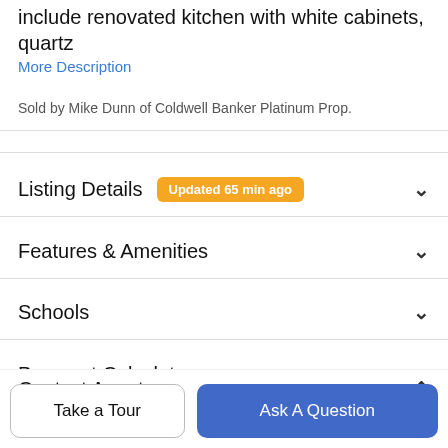include renovated kitchen with white cabinets, quartz
More Description
Sold by Mike Dunn of Coldwell Banker Platinum Prop.
Listing Details  Updated 65 min ago
Features & Amenities
Schools
Payment Calculator
Contact Agent